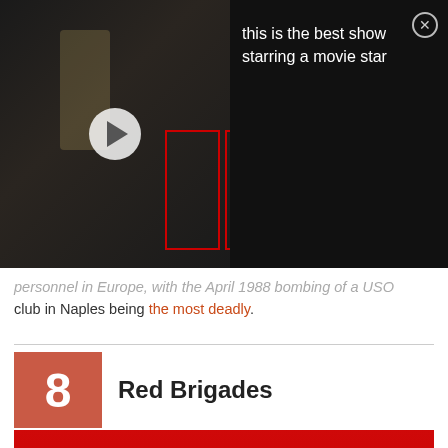[Figure (screenshot): Video player thumbnail showing dark scene with play button overlay and red bounding boxes. Text overlay reads 'this is the best show starring a movie star' with a close button.]
personnel in Europe, with the April 1988 bombing of a USO club in Naples being the most deadly.
8  Red Brigades
[Figure (photo): Red background image with large yellow text reading 'BRIGATE' — cover image for the Red Brigades list entry.]